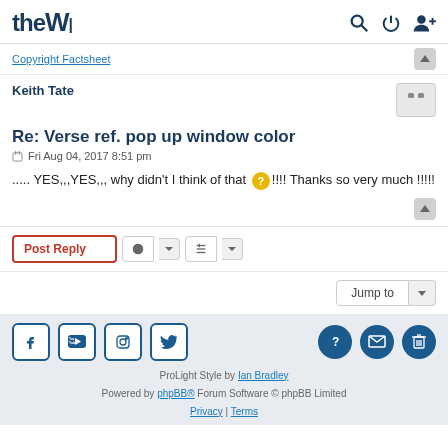theW  [search icon] [power icon] [user icon]
Copyright Factsheet
Keith Tate
Re: Verse ref. pop up window color
Fri Aug 04, 2017 8:51 pm
..... YES,,,YES,,, why didn't I think of that ?!!!! Thanks so very much !!!!!
Post Reply  [tool icon] [sort icon]
Jump to
ProLight Style by Ian Bradley
Powered by phpBB® Forum Software © phpBB Limited
Privacy | Terms